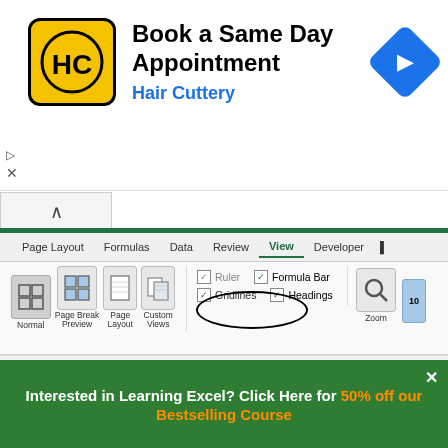[Figure (screenshot): Hair Cuttery advertisement banner: yellow/black HC logo, 'Book a Same Day Appointment' heading, 'Hair Cuttery' subtitle in blue, blue diamond navigation icon on right, ad controls (play/close) on left]
[Figure (screenshot): Microsoft Excel ribbon showing View tab active with Workbook Views group (Normal, Page Break Preview, Page Layout, Custom Views buttons), Show group (Ruler checked, Formula Bar checked, Gridlines checked with oval annotation circle around it, Headings checked), and Zoom group. Below is spreadsheet column headers D, E (selected), F, G, H, I, J]
Interested in Learning Excel? Click Here for 50% off our Bestselling Course